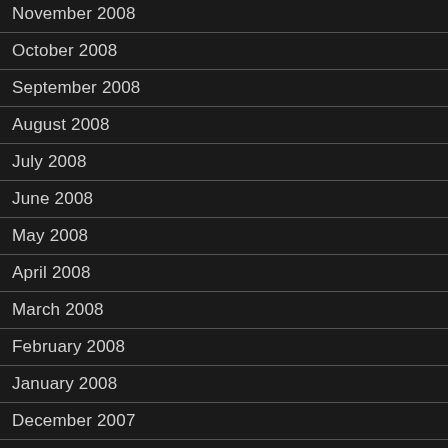November 2008
October 2008
September 2008
August 2008
July 2008
June 2008
May 2008
April 2008
March 2008
February 2008
January 2008
December 2007
November 2007